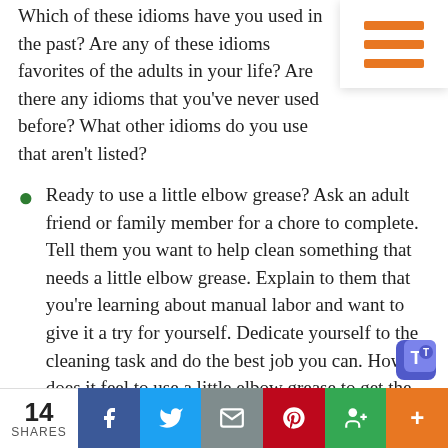Which of these idioms have you used in the past? Are any of these idioms favorites of the adults in your life? Are there any idioms that you've never used before? What other idioms do you use that aren't listed?
Ready to use a little elbow grease? Ask an adult friend or family member for a chore to complete. Tell them you want to help clean something that needs a little elbow grease. Explain to them that you're learning about manual labor and want to give it a try for yourself. Dedicate yourself to the cleaning task and do the best job you can. How does it feel to use a little elbow grease to get the job done?
There's pretty much a machine for doing just
14 SHARES